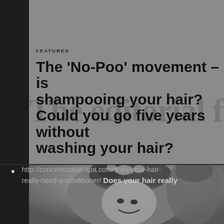FEATURED
The ‘No-Poo’ movement – is shampooing your hair? Could you go five years without washing your hair?
[Figure (photo): Black and white photograph of a woman washing her hair, smiling, with lather in her hair]
http://concertosalon-spa.com/does-your-hair-really-need-a-conditioner/ Does your hair really